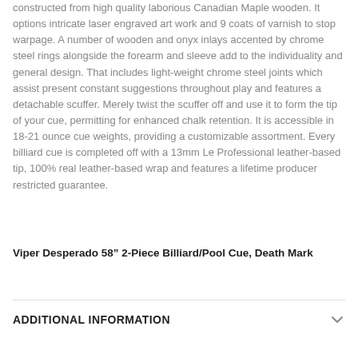constructed from high quality laborious Canadian Maple wooden. It options intricate laser engraved art work and 9 coats of varnish to stop warpage. A number of wooden and onyx inlays accented by chrome steel rings alongside the forearm and sleeve add to the individuality and general design. That includes light-weight chrome steel joints which assist present constant suggestions throughout play and features a detachable scuffer. Merely twist the scuffer off and use it to form the tip of your cue, permitting for enhanced chalk retention. It is accessible in 18-21 ounce cue weights, providing a customizable assortment. Every billiard cue is completed off with a 13mm Le Professional leather-based tip, 100% real leather-based wrap and features a lifetime producer restricted guarantee.
Viper Desperado 58” 2-Piece Billiard/Pool Cue, Death Mark
ADDITIONAL INFORMATION